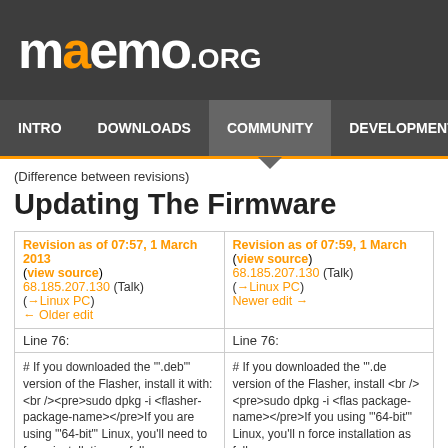maemo.org
INTRO | DOWNLOADS | COMMUNITY | DEVELOPMENT | NEWS
(Difference between revisions)
Updating The Firmware
| Revision as of 07:57, 1 March 2013 (view source) 68.185.207.130 (Talk) (→Linux PC) ← Older edit | Revision as of 07:59, 1 March (view source) 68.185.207.130 (Talk) (→Linux PC) Newer edit → |
| --- | --- |
| Line 76: | Line 76: |
| # If you downloaded the '".deb"' version of the Flasher, install it with: <br /><pre>sudo dpkg -i <flasher-package-name></pre>If you are using '"64-bit"' Linux, you'll need to force installation as follows: | # If you downloaded the '".de version of the Flasher, install <br /><pre>sudo dpkg -i <flas package-name></pre>If you using '"64-bit"' Linux, you'll n force installation as follows: |